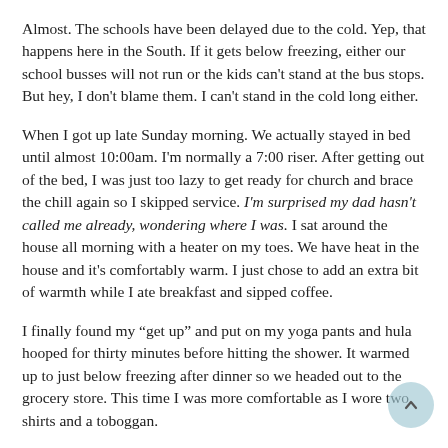Almost. The schools have been delayed due to the cold. Yep, that happens here in the South. If it gets below freezing, either our school busses will not run or the kids can't stand at the bus stops. But hey, I don't blame them. I can't stand in the cold long either.
When I got up late Sunday morning. We actually stayed in bed until almost 10:00am. I'm normally a 7:00 riser. After getting out of the bed, I was just too lazy to get ready for church and brace the chill again so I skipped service. I'm surprised my dad hasn't called me already, wondering where I was. I sat around the house all morning with a heater on my toes. We have heat in the house and it's comfortably warm. I just chose to add an extra bit of warmth while I ate breakfast and sipped coffee.
I finally found my "get up" and put on my yoga pants and hula hooped for thirty minutes before hitting the shower. It warmed up to just below freezing after dinner so we headed out to the grocery store. This time I was more comfortable as I wore two shirts and a toboggan.